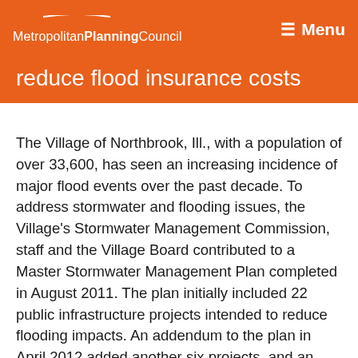Metropolitan Planning Council   ≡ Menu
reduce flood insurance costs
The Village of Northbrook, Ill., with a population of over 33,600, has seen an increasing incidence of major flood events over the past decade. To address stormwater and flooding issues, the Village's Stormwater Management Commission, staff and the Village Board contributed to a Master Stormwater Management Plan completed in August 2011. The plan initially included 22 public infrastructure projects intended to reduce flooding impacts. An addendum to the plan in April 2012 added another six projects, and an April 2015 plan update added three more, bringing the total to 31.
The Village established a utility fee in 2011 to